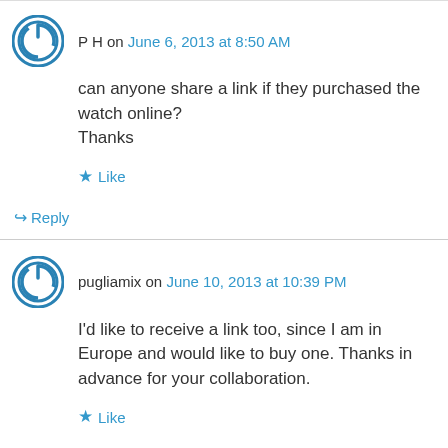P H on June 6, 2013 at 8:50 AM
can anyone share a link if they purchased the watch online?
Thanks
Like
Reply
pugliamix on June 10, 2013 at 10:39 PM
I'd like to receive a link too, since I am in Europe and would like to buy one. Thanks in advance for your collaboration.
Like
Reply